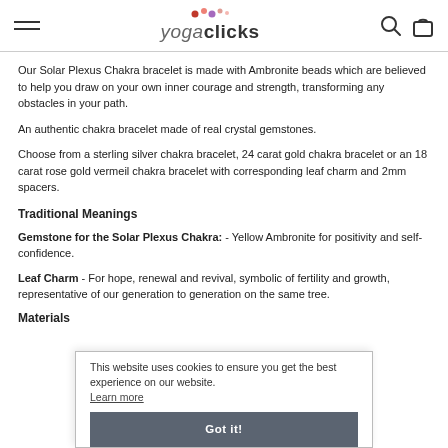yogaclicks
Our Solar Plexus Chakra bracelet is made with Ambronite beads which are believed to help you draw on your own inner courage and strength, transforming any obstacles in your path.
An authentic chakra bracelet made of real crystal gemstones.
Choose from a sterling silver chakra bracelet, 24 carat gold chakra bracelet or an 18 carat rose gold vermeil chakra bracelet with corresponding leaf charm and 2mm spacers.
Traditional Meanings
Gemstone for the Solar Plexus Chakra: - Yellow Ambronite for positivity and self- confidence.
Leaf Charm - For hope, renewal and revival, symbolic of fertility and growth, representative of our generation to generation on the same tree.
Materials
This website uses cookies to ensure you get the best experience on our website. Learn more